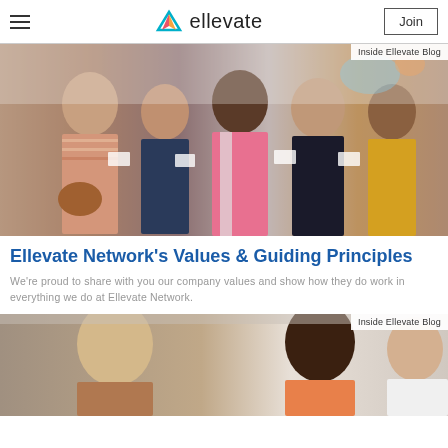ellevate | Join
[Figure (photo): Group of five women smiling at a networking event, with name badges and colorful artwork in background. Inside Ellevate Blog badge in top right corner.]
Ellevate Network's Values & Guiding Principles
We're proud to share with you our company values and show how they do work in everything we do at Ellevate Network.
[Figure (photo): Group of women smiling at an event, partially visible at page bottom. Inside Ellevate Blog badge in top right corner.]